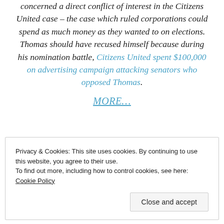concerned a direct conflict of interest in the Citizens United case – the case which ruled corporations could spend as much money as they wanted to on elections. Thomas should have recused himself because during his nomination battle, Citizens United spent $100,000 on advertising campaign attacking senators who opposed Thomas.
MORE…
Privacy & Cookies: This site uses cookies. By continuing to use this website, you agree to their use. To find out more, including how to control cookies, see here: Cookie Policy